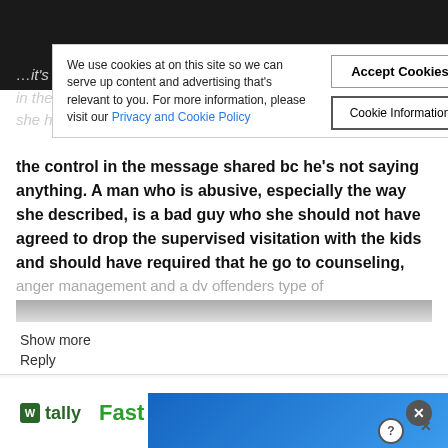[Figure (screenshot): Cookie consent banner overlay on a website with Accept Cookies and Cookie Information buttons]
We use cookies at on this site so we can serve up content and advertising that's relevant to you. For more information, please visit our Privacy and Cookie Policy
the control in the message shared bc he's not saying anything. A man who is abusive, especially the way she described, is a bad guy who she should not have agreed to drop the supervised visitation with the kids and should have required that he go to counseling,
anger management and a dv offenders type of
Show more
Reply
disqus_9ZyOSvSgNI  Oct 8, 2019
[Figure (screenshot): Bottom advertisement area with Tally logo, Fast text, blue video strip, green CTA button, and close/help icons]